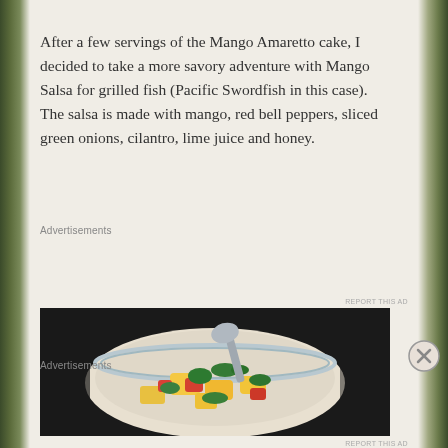After a few servings of the Mango Amaretto cake, I decided to take a more savory adventure with Mango Salsa for grilled fish (Pacific Swordfish in this case). The salsa is made with mango, red bell peppers, sliced green onions, cilantro, lime juice and honey.
Advertisements
[Figure (screenshot): WordPress.com advertisement banner with blue background, WordPress logo, site name, and pink 'Build Your Website' button]
REPORT THIS AD
[Figure (photo): A bowl of mango salsa with colorful diced mango, red peppers, green cilantro, and a spoon visible from above]
Advertisements
REPORT THIS AD